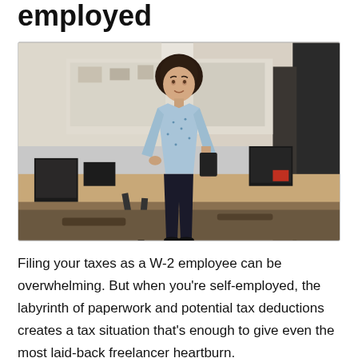employed
[Figure (photo): A woman in a light blue patterned shirt standing confidently in a modern office workspace with monitors and desks in the background.]
Filing your taxes as a W-2 employee can be overwhelming. But when you're self-employed, the labyrinth of paperwork and potential tax deductions creates a tax situation that's enough to give even the most laid-back freelancer heartburn.